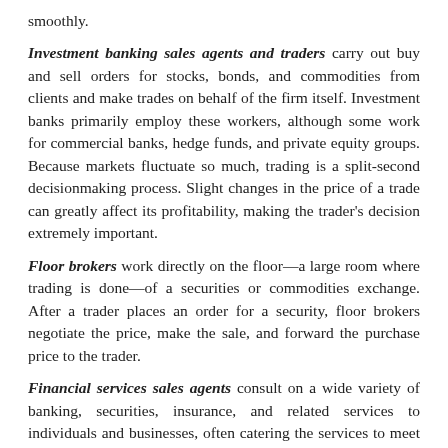smoothly.
Investment banking sales agents and traders carry out buy and sell orders for stocks, bonds, and commodities from clients and make trades on behalf of the firm itself. Investment banks primarily employ these workers, although some work for commercial banks, hedge funds, and private equity groups. Because markets fluctuate so much, trading is a split-second decisionmaking process. Slight changes in the price of a trade can greatly affect its profitability, making the trader's decision extremely important.
Floor brokers work directly on the floor—a large room where trading is done—of a securities or commodities exchange. After a trader places an order for a security, floor brokers negotiate the price, make the sale, and forward the purchase price to the trader.
Financial services sales agents consult on a wide variety of banking, securities, insurance, and related services to individuals and businesses, often catering the services to meet the client's financial needs. They contact potential clients to explain their services, which may include the handling of checking accounts, loans, certificates of deposit, individual retirement accounts,